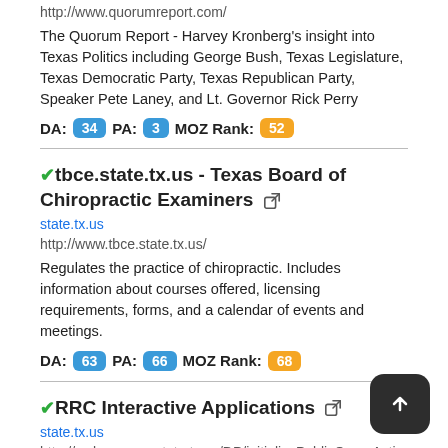http://www.quorumreport.com/
The Quorum Report - Harvey Kronberg's insight into Texas Politics including George Bush, Texas Legislature, Texas Democratic Party, Texas Republican Party, Speaker Pete Laney, and Lt. Governor Rick Perry
DA: 34  PA: 3  MOZ Rank: 52
tbce.state.tx.us - Texas Board of Chiropractic Examiners
state.tx.us
http://www.tbce.state.tx.us/
Regulates the practice of chiropractic. Includes information about courses offered, licensing requirements, forms, and a calendar of events and meetings.
DA: 63  PA: 66  MOZ Rank: 68
RRC Interactive Applications
state.tx.us
http://webapps.rrc.state.tx.us/DP/initializePublicQueryAction.do